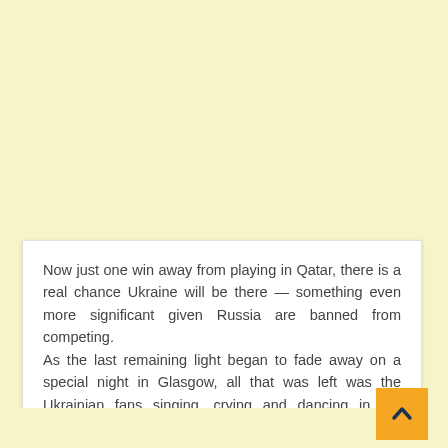[Figure (other): Light yellow/cream background area filling the top portion of the page]
Now just one win away from playing in Qatar, there is a real chance Ukraine will be there — something even more significant given Russia are banned from competing. As the last remaining light began to fade away on a special night in Glasgow, all that was left was the Ukrainian fans singing, crying and dancing in the stands.
Source